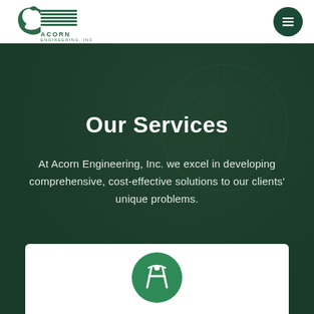[Figure (logo): Acorn Engineering, Inc. logo with stylized acorn/bird graphic and horizontal lines]
[Figure (other): Hamburger menu button in dark green circle in top right corner]
Our Services
At Acorn Engineering, Inc. we excel in developing comprehensive, cost-effective solutions to our clients' unique problems.
[Figure (logo): Acorn Engineering icon in a green circle showing drafting compass/architectural tools symbol, partially visible at bottom of page]